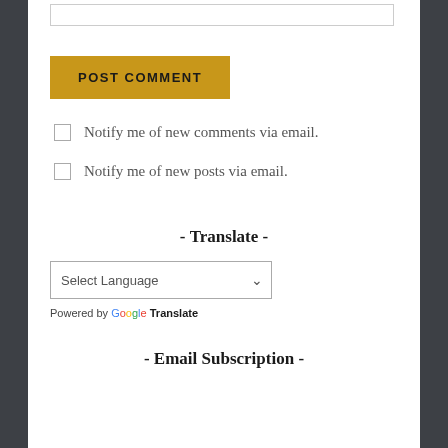[Figure (screenshot): Text input box at the top of the page]
POST COMMENT
Notify me of new comments via email.
Notify me of new posts via email.
- Translate -
[Figure (screenshot): Select Language dropdown with arrow, Powered by Google Translate]
- Email Subscription -